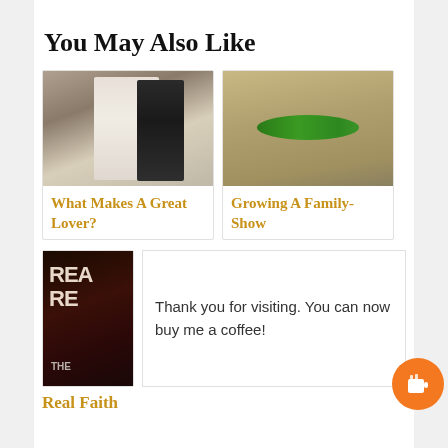You May Also Like
[Figure (photo): Wedding photo of a bride and groom]
What Makes A Great Lover?
[Figure (photo): Close-up photo of a green pea pod on a wooden surface]
Growing A Family-Show
[Figure (photo): Book cover showing the word REAL in large letters with THE at the bottom]
Thank you for visiting. You can now buy me a coffee!
Real Faith
[Figure (illustration): Orange circle button with a coffee cup icon]